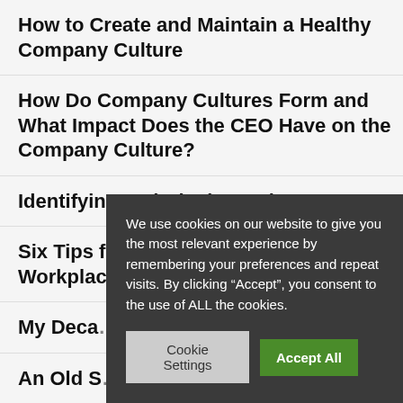How to Create and Maintain a Healthy Company Culture
How Do Company Cultures Form and What Impact Does the CEO Have on the Company Culture?
Identifying and Closing Culture-Gaps
Six Tips for Managing Conflict in the Workplace
My Deca… Assessment…
An Old S…
Two Sid… Use Eac…
Modifyi… in the TKI Conflict Model
We use cookies on our website to give you the most relevant experience by remembering your preferences and repeat visits. By clicking “Accept”, you consent to the use of ALL the cookies.
Cookie Settings
Accept All